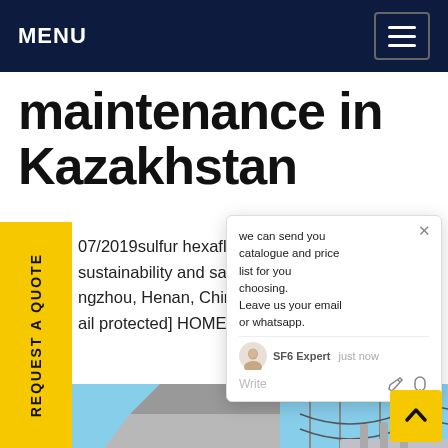MENU
maintenance in Kazakhstan
07/2019sulfur hexafluoride maintenance niba sustainability and safety High-ne e ngzhou, Henan, China (+86) 0371 ail protected] HOMEGet price
[Figure (screenshot): Chat popup widget showing: 'we can send you catalogue and price list for you choosing. Leave us your email or whatsapp.' with SF6 Expert avatar, 'just now' timestamp, and a Write input area with like and attachment icons.]
[Figure (photo): Industrial electrical substation maintenance scene showing a yellow SF6 gas service truck with equipment and high-voltage transformer infrastructure in the background under blue sky.]